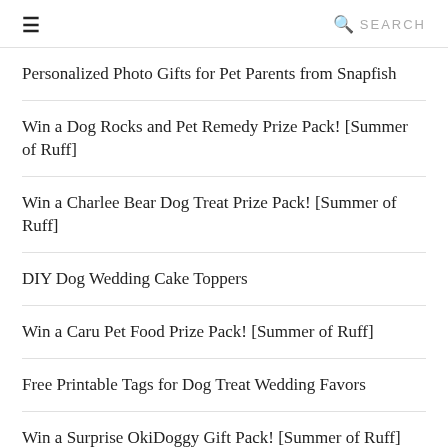☰   🔍 SEARCH
Personalized Photo Gifts for Pet Parents from Snapfish
Win a Dog Rocks and Pet Remedy Prize Pack! [Summer of Ruff]
Win a Charlee Bear Dog Treat Prize Pack! [Summer of Ruff]
DIY Dog Wedding Cake Toppers
Win a Caru Pet Food Prize Pack! [Summer of Ruff]
Free Printable Tags for Dog Treat Wedding Favors
Win a Surprise OkiDoggy Gift Pack! [Summer of Ruff]
Win Half a Year of Poop Bags from Gemma Rose Project!